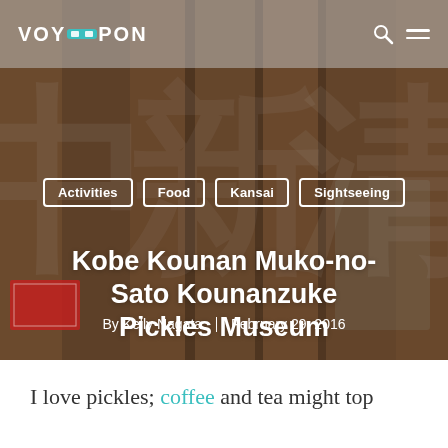VOYAPON
[Figure (photo): Hero background image showing Japanese noren fabric banners with kanji characters hanging in front of a shop, tinted brown/sepia overlay]
Activities
Food
Kansai
Sightseeing
Kobe Kounan Muko-no-Sato Kounanzuke Pickles Museum
By Kelly Nagata  |  February 29, 2016
I love pickles; coffee and tea might top